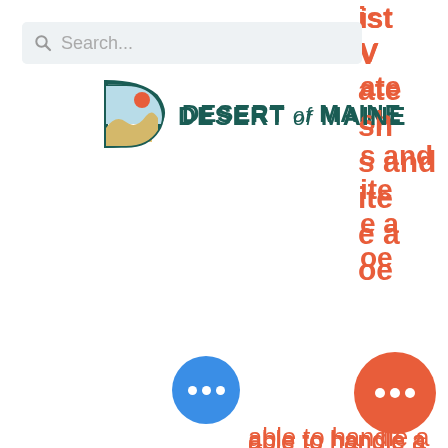[Figure (screenshot): Search bar with magnifier icon and placeholder text 'Search...']
[Figure (logo): Desert of Maine logo with stylized D icon and text 'DESERT of MAINE']
ist V ate sh s and ite e a oe
[Figure (other): Hamburger menu icon (two horizontal lines)]
able to handle a 10' travel trailer. Therefore, we only list a few sites in the software as being able to handle travel trailers to prevent the situation where someone shows up with a trailer that can't fit. If you have a travel trailer you should first check if your trailer will fit by
[Figure (other): Blue circular chat button with three dots]
[Figure (other): Orange circular chat button with three dots]